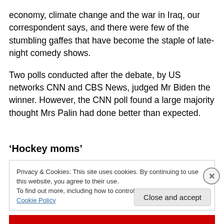economy, climate change and the war in Iraq, our correspondent says, and there were few of the stumbling gaffes that have become the staple of late-night comedy shows.
Two polls conducted after the debate, by US networks CNN and CBS News, judged Mr Biden the winner. However, the CNN poll found a large majority thought Mrs Palin had done better than expected.
‘Hockey moms’
Privacy & Cookies: This site uses cookies. By continuing to use this website, you agree to their use.
To find out more, including how to control cookies, see here: Cookie Policy